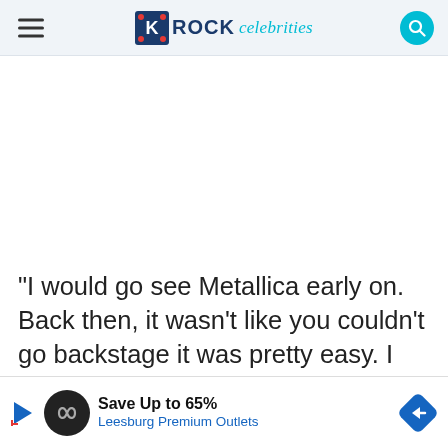ROCK celebrities
“I would go see Metallica early on. Back then, it wasn’t like you couldn’t go backstage it was pretty easy. I remember I was a kid, I was probably like 16-17 at this ti... and p...
[Figure (infographic): Advertisement banner: Save Up to 65% Leesburg Premium Outlets with navigation arrow icon]